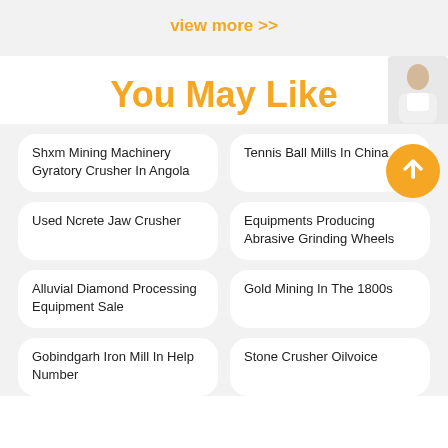view more >>
You May Like
Shxm Mining Machinery Gyratory Crusher In Angola
Tennis Ball Mills In China
Used Ncrete Jaw Crusher
Equipments Producing Abrasive Grinding Wheels
Alluvial Diamond Processing Equipment Sale
Gold Mining In The 1800s
Gobindgarh Iron Mill In Help Number
Stone Crusher Oilvoice